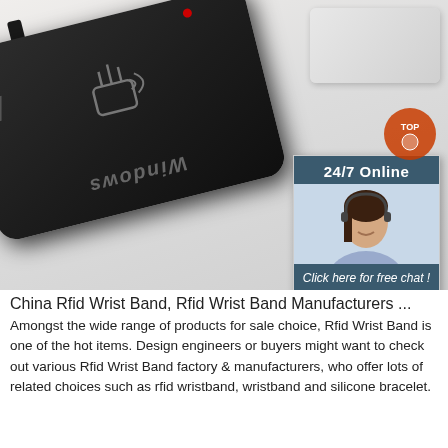[Figure (photo): A black RFID USB reader device labeled 'Windows' with a contactless card icon, placed on a light surface near a white laptop. A chat widget is overlaid on the right showing '24/7 Online', a female agent with headset, 'Click here for free chat!' and an orange QUOTATION button.]
China Rfid Wrist Band, Rfid Wrist Band Manufacturers ...
Amongst the wide range of products for sale choice, Rfid Wrist Band is one of the hot items. Design engineers or buyers might want to check out various Rfid Wrist Band factory & manufacturers, who offer lots of related choices such as rfid wristband, wristband and silicone bracelet.